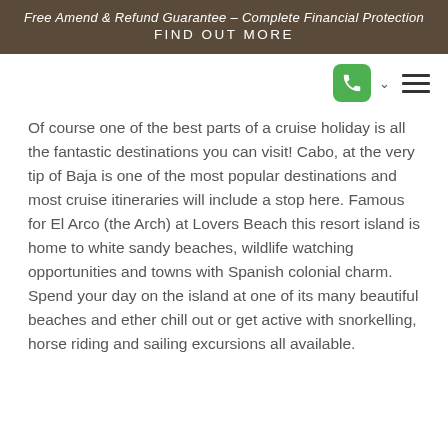Free Amend & Refund Guarantee – Complete Financial Protection
FIND OUT MORE
[Figure (other): Navigation bar with green phone button, chevron dropdown indicator, and hamburger menu icon]
Of course one of the best parts of a cruise holiday is all the fantastic destinations you can visit! Cabo, at the very tip of Baja is one of the most popular destinations and most cruise itineraries will include a stop here. Famous for El Arco (the Arch) at Lovers Beach this resort island is home to white sandy beaches, wildlife watching opportunities and towns with Spanish colonial charm. Spend your day on the island at one of its many beautiful beaches and ether chill out or get active with snorkelling, horse riding and sailing excursions all available.